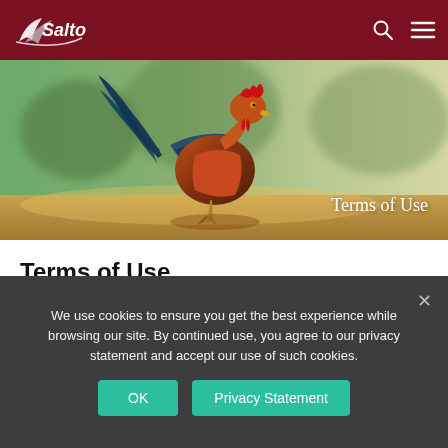Salto – navigation bar with logo and menu icons
[Figure (photo): A rooster/gamecock photographed outdoors with blurred green background, posed dynamically.]
Terms of Use
Description of Salto Services and Acceptance of Terms of Use
Updated March 20, 2019
We use cookies to ensure you get the best experience while browsing our site. By continued use, you agree to our privacy statement and accept our use of such cookies.
OK  Privacy Statement